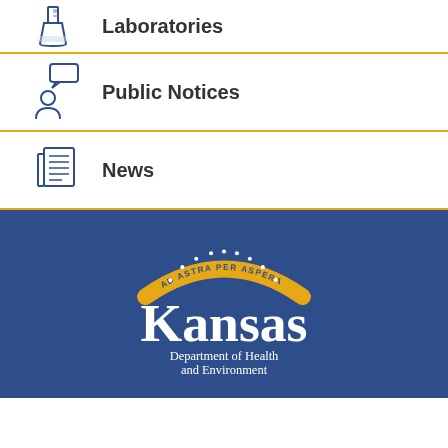Laboratories
Public Notices
News
[Figure (logo): Kansas Department of Health and Environment logo with 'Ad Astra Per Aspera' banner and stars on dark blue background]